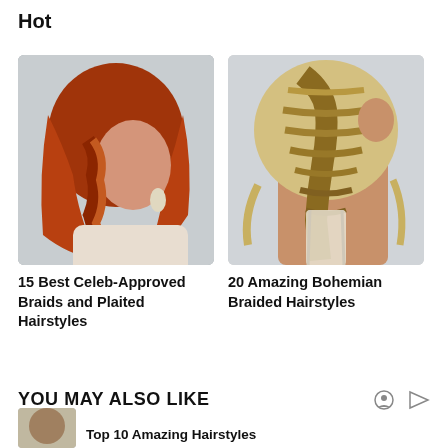Hot
[Figure (photo): Woman with auburn/red fishtail braided ponytail hairstyle, seen from behind, wearing white top]
[Figure (photo): Woman with blonde bohemian braided hairstyle seen from behind, wearing white lace top]
15 Best Celeb-Approved Braids and Plaited Hairstyles
20 Amazing Bohemian Braided Hairstyles
YOU MAY ALSO LIKE
[Figure (photo): Partial thumbnail image at bottom left]
Top 10 Amazing Hairstyles